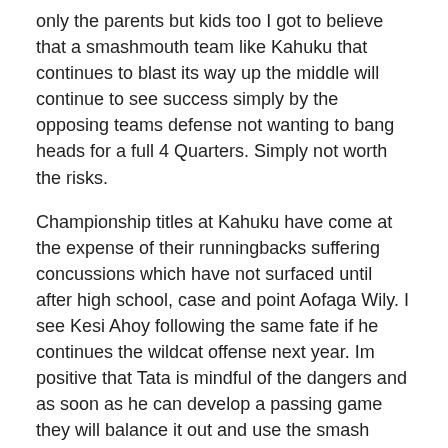only the parents but kids too I got to believe that a smashmouth team like Kahuku that continues to blast its way up the middle will continue to see success simply by the opposing teams defense not wanting to bang heads for a full 4 Quarters. Simply not worth the risks.
Championship titles at Kahuku have come at the expense of their runningbacks suffering concussions which have not surfaced until after high school, case and point Aofaga Wily. I see Kesi Ahoy following the same fate if he continues the wildcat offense next year. Im positive that Tata is mindful of the dangers and as soon as he can develop a passing game they will balance it out and use the smash mouth as sparingly as possible.
6  88  December 25, 2015 9:30 pm
I think your right. Faga-Man carried the ball way too